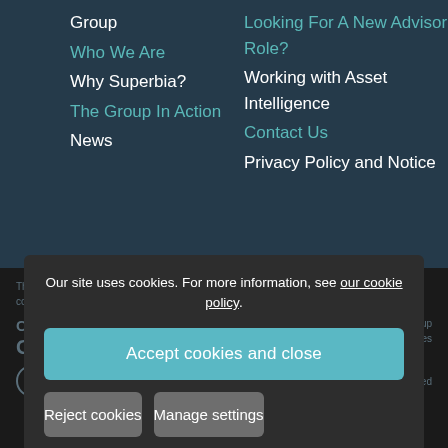Group
Who We Are
Why Superbia?
The Group In Action
News
Looking For A New Advisor Role?
Working with Asset Intelligence
Contact Us
Privacy Policy and Notice
The Superbia Group and Superbia Financial Planning Limited is not responsible for the content of third party sources
Contact the Superbia Group
Group
Ltd includes
Call us on: 0116 2696311
associated
Our site uses cookies. For more information, see our cookie policy.
Accept cookies and close
Reject cookies
Manage settings